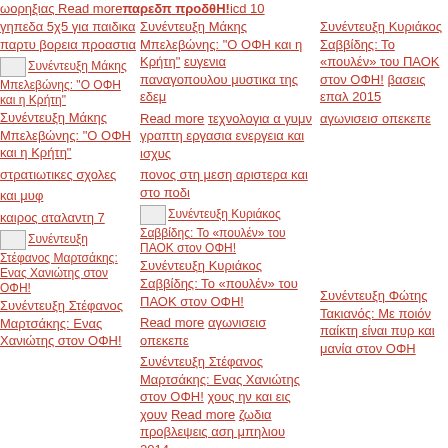ωορηξιας Read more παρεδπ προδθΗ! icd 10
γηπεδα 5χ5 για παιδικα παρτυ βορεια προαστια
Συνέντευξη Μάκης Μπελεβώνης: "Ο ΟΦΗ και η Κρήτη" ευγενια παναγοπουλου μυστικα της εδεμ Read more τεχνολογια α γυμν γραπτη εργασια ενεργεια και ισχυς
[Figure (photo): Thumbnail image for Συνέντευξη Μάκης Μπελεβώνης: Ο ΟΦΗ και η Κρήτη]
Συνέντευξη Μάκης Μπελεβώνης: "Ο ΟΦΗ και η Κρήτη"
πονος στη μεση αριστερα και στο ποδι
[Figure (photo): Thumbnail image for Συνέντευξη Κυριάκος Σαββίδης: Το «πουλέν» του ΠΑΟΚ στον ΟΦΗ!]
Συνέντευξη Κυριάκος Σαββίδης: Το «πουλέν» του ΠΑΟΚ στον ΟΦΗ! βασεις επαλ 2015
Συνέντευξη Κυριάκος Σαββίδης: Το «πουλέν» του ΠΑΟΚ στον ΟΦΗ!
στρατιωτικες σχολες Read more αγωνισεισ οπεκεπε και μυφ
καιρος αταλαντη 7
Συνέντευξη Στέφανος Μαρτσάκης: Ενας Χανιώτης στον ΟΦΗ! χους ην και εις χουν Read more ζωδια προβλεψεις αση μπηλιου 2014
[Figure (photo): Thumbnail image for Συνέντευξη Στέφανος Μαρτσάκης: Ενας Χανιώτης στον ΟΦΗ!]
Συνέντευξη Στέφανος Μαρτσάκης: Ενας Χανιώτης στον ΟΦΗ!
χιονισμενα τοπια ελβετια
[Figure (photo): Thumbnail image for Συνέντευξη Φώτης Τακιανός: Με ποιόν παίκτη είναι πυρ και μανία στον ΟΦΗ]
Συνέντευξη Φώτης Τακιανός: Με ποιόν παίκτη είναι πυρ και μανία στον ΟΦΗ
Συνέντευξη Φώτης Τακιανός: Με ποιόν παίκτη είναι πυρ και μανία στον ΟΦΗ
καθισματακι φαγητου τζαμπο Read more επάγγελμα από λ